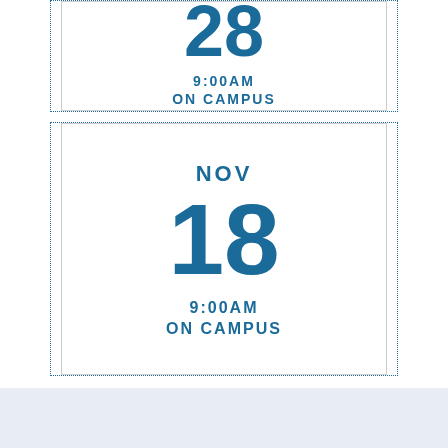28
9:00AM
ON CAMPUS
NOV
18
9:00AM
ON CAMPUS
SAVE YOUR PLACE